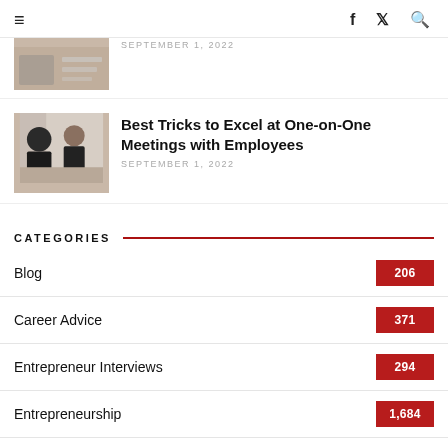≡  f  𝕏  🔍
SEPTEMBER 1, 2022
Best Tricks to Excel at One-on-One Meetings with Employees
SEPTEMBER 1, 2022
CATEGORIES
Blog  206
Career Advice  371
Entrepreneur Interviews  294
Entrepreneurship  1,684
Finance  20